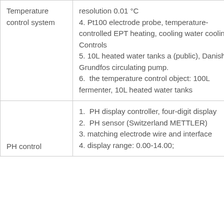|  |  |
| --- | --- |
| Temperature control system | resolution 0.01 °C
4. Pt100 electrode probe, temperature-controlled EPT heating, cooling water cooling Controls
5. 10L heated water tanks a (public), Danish Grundfos circulating pump.
6.  the temperature control object: 100L fermenter, 10L heated water tanks |
|  | 1.  PH display controller, four-digit display
2.  PH sensor (Switzerland METTLER)
3. matching electrode wire and interface
4. display range: 0.00-14.00; |
| PH control | 4. display range: 0.00-14.00; |